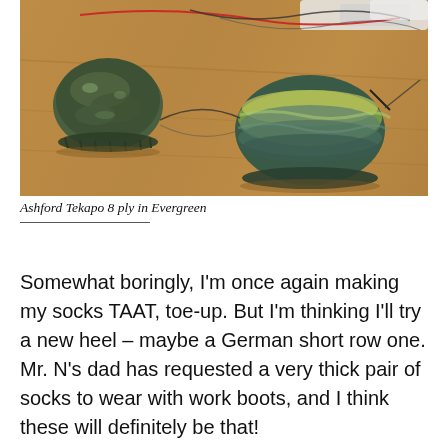[Figure (photo): Photo of two knitting projects (socks in progress) on a wooden table, made with green/teal variegated yarn on circular needles.]
Ashford Tekapo 8 ply in Evergreen
Somewhat boringly, I'm once again making my socks TAAT, toe-up.  But I'm thinking I'll try a new heel – maybe a German short row one.  Mr. N's dad has requested a very thick pair of socks to wear with work boots, and I think these will definitely be that!